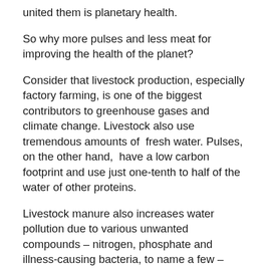united them is planetary health.
So why more pulses and less meat for improving the health of the planet?
Consider that livestock production, especially factory farming, is one of the biggest contributors to greenhouse gases and climate change. Livestock also use tremendous amounts of fresh water. Pulses, on the other hand, have a low carbon footprint and use just one-tenth to half of the water of other proteins.
Livestock manure also increases water pollution due to various unwanted compounds – nitrogen, phosphate and illness-causing bacteria, to name a few – seeping into ground water. Pulses, though, do the opposite as they enrich the soil they're grown in.